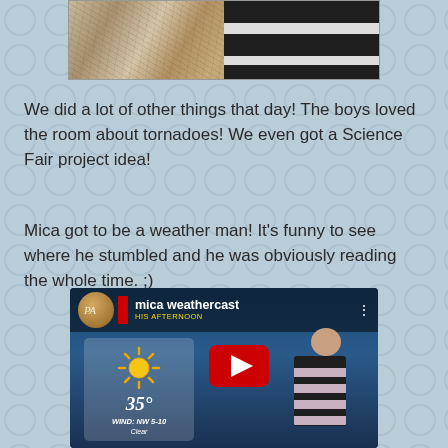[Figure (photo): Two photos side by side at top: left shows a rocky/stone texture surface, right shows a person wearing a black and white striped shirt]
We did a lot of other things that day! The boys loved the room about tornadoes! We even got a Science Fair project idea!
Mica got to be a weather man! It's funny to see where he stumbled and he was obviously reading the whole time. ;)
[Figure (screenshot): YouTube video thumbnail titled 'mica weathercast' showing a weather broadcast screen with 35 degrees temperature, WIND: NW 5-10, Clear, and a person in striped shirt standing in front of a weather map]